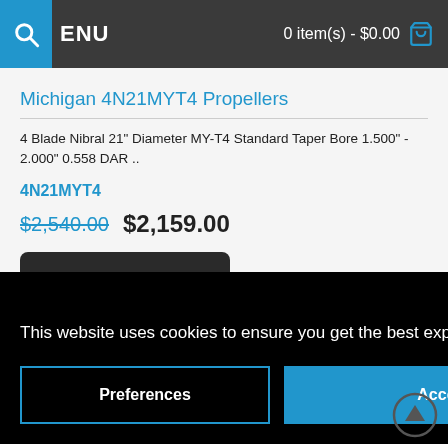MENU  0 item(s) - $0.00
Michigan 4N21MYT4 Propellers
4 Blade Nibral 21" Diameter MY-T4 Standard Taper Bore 1.500" - 2.000" 0.558 DAR ..
4N21MYT4
$2,540.00  $2,159.00
Close
This website uses cookies to ensure you get the best experience on our website.
Preferences
Accept